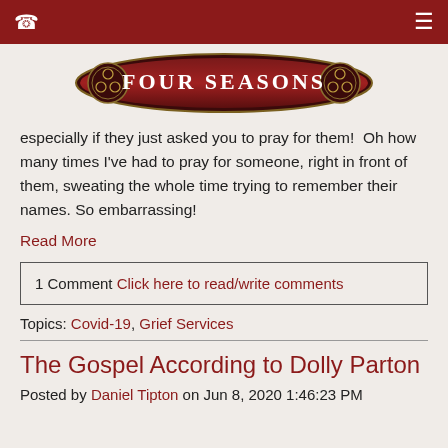Four Seasons
[Figure (logo): Four Seasons logo — dark red oval banner with ornamental Celtic knot designs on each end and white text reading FOUR SEASONS]
especially if they just asked you to pray for them!  Oh how many times I've had to pray for someone, right in front of them, sweating the whole time trying to remember their names. So embarrassing!
Read More
1 Comment  Click here to read/write comments
Topics: Covid-19, Grief Services
The Gospel According to Dolly Parton
Posted by Daniel Tipton on Jun 8, 2020 1:46:23 PM